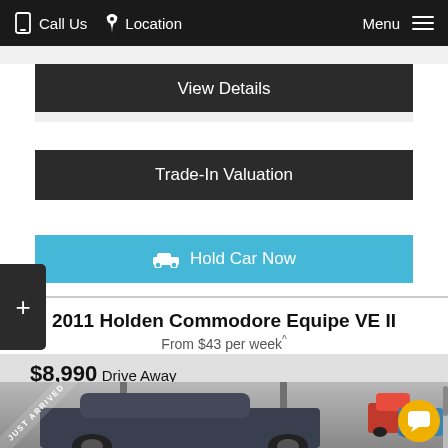Call Us  Location  Menu
View Details
Trade-In Valuation
Hold Car Now
2011 Holden Commodore Equipe VE II
From $43 per week^
$8,990 Drive Away
[Figure (photo): Photo of a dark grey/blue Holden Commodore sedan in a dealership garage, with a 'Just Arrived' diagonal banner in the top-left corner, red and blue cars visible in background on the right.]